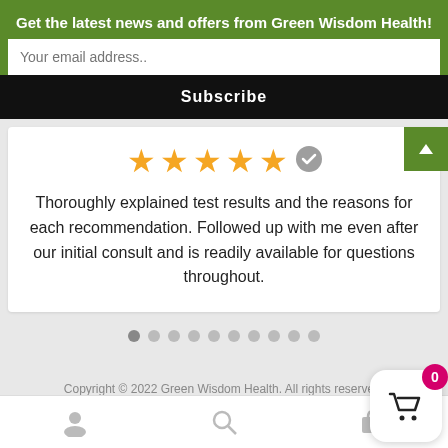Get the latest news and offers from Green Wisdom Health!
Your email address..
Subscribe
[Figure (other): Five gold stars with a grey verified checkmark badge, indicating a 5-star verified review]
Thoroughly explained test results and the reasons for each recommendation. Followed up with me even after our initial consult and is readily available for questions throughout.
[Figure (other): Pagination dots: 10 circles, first one dark (active), rest light grey]
Copyright © 2022 Green Wisdom Health. All rights reserve...